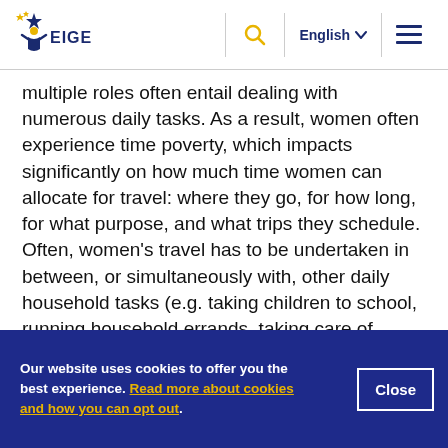EIGE — English — [navigation]
multiple roles often entail dealing with numerous daily tasks. As a result, women often experience time poverty, which impacts significantly on how much time women can allocate for travel: where they go, for how long, for what purpose, and what trips they schedule. Often, women's travel has to be undertaken in between, or simultaneously with, other daily household tasks (e.g. taking children to school, running household errands, taking care of
Our website uses cookies to offer you the best experience. Read more about cookies and how you can opt out.